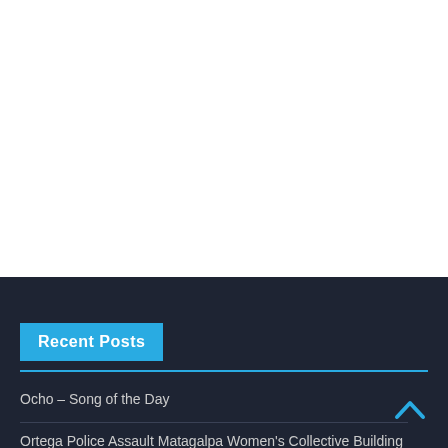Recent Posts
Ocho – Song of the Day
Ortega Police Assault Matagalpa Women's Collective Building